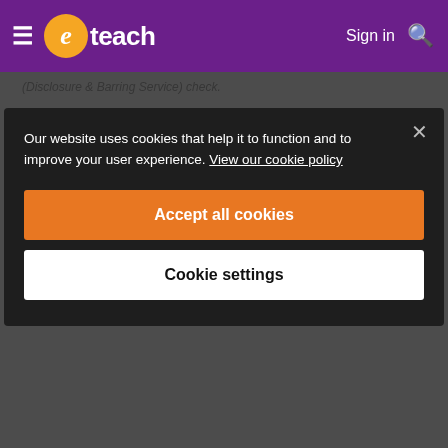eteach — Sign in
(Disclosure & Barring Service) check.
Attachments
TA - All Levels - JD and PS
Safeguarding Statement:
Our website uses cookies that help it to function and to improve your user experience. View our cookie policy
Accept all cookies
Cookie settings